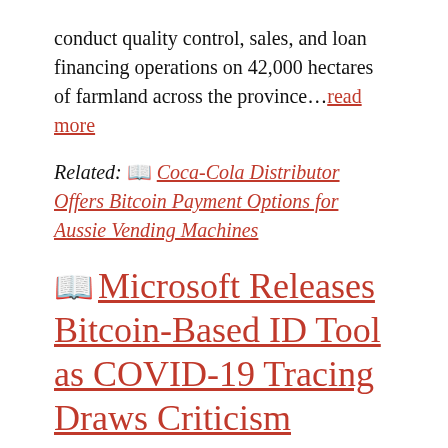conduct quality control, sales, and loan financing operations on 42,000 hectares of farmland across the province…read more
Related: 📖 Coca-Cola Distributor Offers Bitcoin Payment Options for Aussie Vending Machines
📖 Microsoft Releases Bitcoin-Based ID Tool as COVID-19 Tracing Draws Criticism
Microsoft's Bitcoin-based decentralized identity tool, ION, went live with a beta version on mainnet Wednesday, as one of many efforts by members of the Decentralized Identity Foundation (DIF) to fast-track tools anyone can use for COVID-19 crisis response programs. Microsoft and